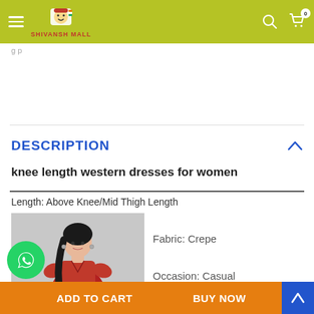Shivansh Mall — navigation bar with hamburger menu, logo, search, and cart (0 items)
g p
DESCRIPTION
knee length western dresses for women
Length: Above Knee/Mid Thigh Length
[Figure (photo): Woman wearing a red knee-length western dress with belt, posing against a grey background]
Fabric: Crepe
Occasion: Casual
ADD TO CART | BUY NOW